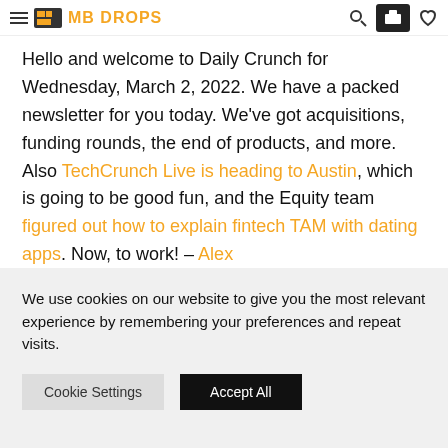MB DROPS
Hello and welcome to Daily Crunch for Wednesday, March 2, 2022. We have a packed newsletter for you today. We've got acquisitions, funding rounds, the end of products, and more. Also TechCrunch Live is heading to Austin, which is going to be good fun, and the Equity team figured out how to explain fintech TAM with dating apps. Now, to work! – Alex
The TechCrunch Top 3
We use cookies on our website to give you the most relevant experience by remembering your preferences and repeat visits.